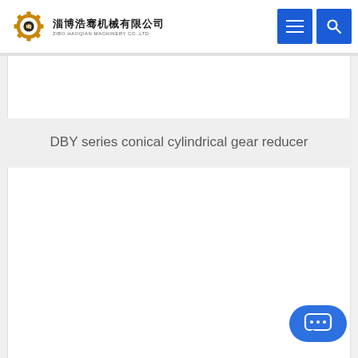淄博浩骞机械有限公司 ZIBO HAOQIAN MACHINERY CO.,LTD
DBY series conical cylindrical gear reducer
[Figure (screenshot): White content area below title banner, empty product image placeholder area]